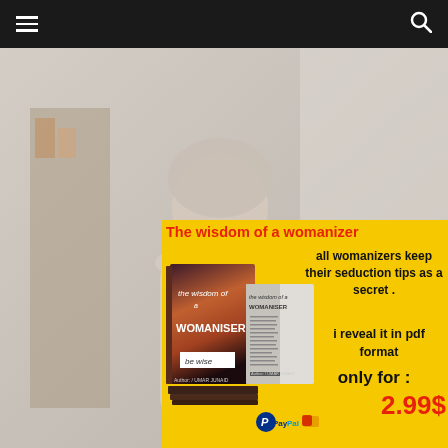Navigation bar with hamburger menu and search icon
[Figure (photo): Background photo of a woman with blonde hair in a light-colored interior setting, muted/faded tones]
X
The wisdom of a womanizer
all womanizers keep their seduction tips as a secret .
[Figure (photo): Book mockup showing 'The Wisdom of a Womaniser' book cover in 3D perspective with multiple copies and an open book]
i reveal it in pdf format
only for :
2.99$
[Figure (logo): PayPal logo with payment card icons]